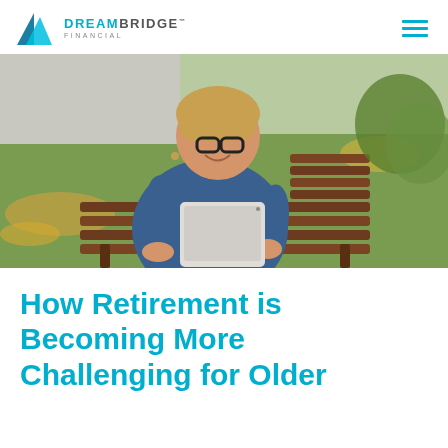DREAMBRIDGE FINANCIAL
[Figure (photo): Middle-aged woman with glasses sitting on a wooden park bench, smiling and looking at a tablet device. She is wearing a blue denim jacket. Background shows green grass and fallen autumn leaves.]
How Retirement is Becoming More Challenging for Older